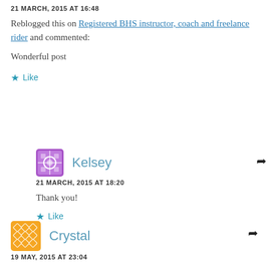21 MARCH, 2015 AT 16:48
Reblogged this on Registered BHS instructor, coach and freelance rider and commented:
Wonderful post
Like
Kelsey
21 MARCH, 2015 AT 18:20
Thank you!
Like
Crystal
19 MAY, 2015 AT 23:04